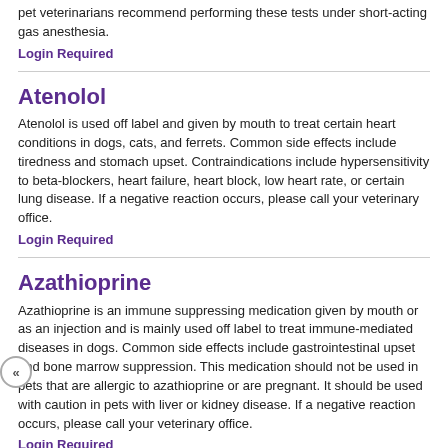pet veterinarians recommend performing these tests under short-acting gas anesthesia.
Login Required
Atenolol
Atenolol is used off label and given by mouth to treat certain heart conditions in dogs, cats, and ferrets. Common side effects include tiredness and stomach upset. Contraindications include hypersensitivity to beta-blockers, heart failure, heart block, low heart rate, or certain lung disease. If a negative reaction occurs, please call your veterinary office.
Login Required
Azathioprine
Azathioprine is an immune suppressing medication given by mouth or as an injection and is mainly used off label to treat immune-mediated diseases in dogs. Common side effects include gastrointestinal upset and bone marrow suppression. This medication should not be used in pets that are allergic to azathioprine or are pregnant. It should be used with caution in pets with liver or kidney disease. If a negative reaction occurs, please call your veterinary office.
Login Required